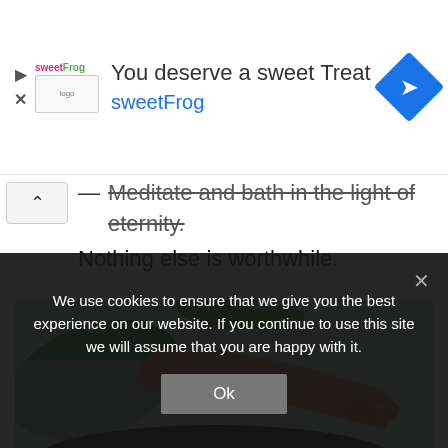[Figure (screenshot): Advertisement banner for sweetFrog frozen yogurt. Shows sweetFrog logo on left, headline 'You deserve a sweet Treat', subtext 'sweetFrog' in blue, and a blue diamond navigation icon on the right.]
Meditate and bath in the light of eternity. Nothing else is worthwhile.
[Figure (photo): A person lying back in a bath or body of water with green tropical leaves visible. The person's arm and dark hair are visible, along with rings on fingers.]
We use cookies to ensure that we give you the best experience on our website. If you continue to use this site we will assume that you are happy with it.